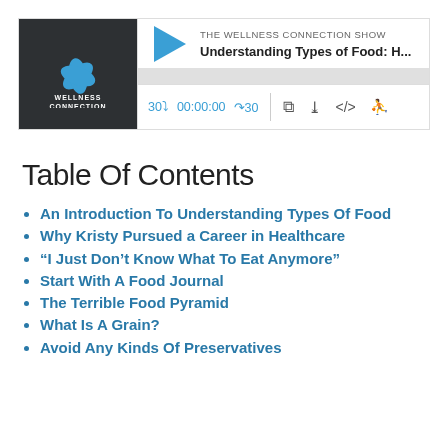[Figure (screenshot): Podcast player widget for 'The Wellness Connection Show' episode titled 'Understanding Types of Food: H...' with play button, progress bar, time controls showing 30s rewind, 00:00:00 timestamp, 30s forward, and icons for RSS, download, embed, and share.]
Table Of Contents
An Introduction To Understanding Types Of Food
Why Kristy Pursued a Career in Healthcare
“I Just Don’t Know What To Eat Anymore”
Start With A Food Journal
The Terrible Food Pyramid
What Is A Grain?
Avoid Any Kinds Of Preservatives